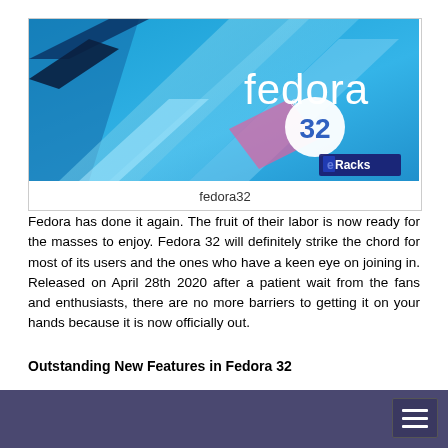[Figure (illustration): Fedora 32 promotional banner image with blue abstract geometric background, 'fedora' text in white, '32' in a white circle, and 'eRacks' logo in bottom right corner]
fedora32
Fedora has done it again. The fruit of their labor is now ready for the masses to enjoy. Fedora 32 will definitely strike the chord for most of its users and the ones who have a keen eye on joining in. Released on April 28th 2020 after a patient wait from the fans and enthusiasts, there are no more barriers to getting it on your hands because it is now officially out.
Outstanding New Features in Fedora 32
There are a lot of changes and new features abound in Fedora 32.